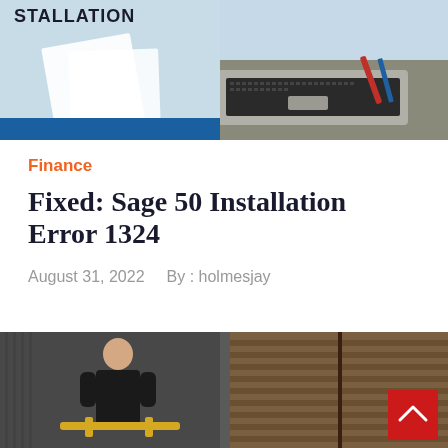[Figure (photo): Top portion of a webpage header image showing a laptop on a desk with papers and text reading 'STALLATION' visible on the left side, light blue background]
Finance
Fixed: Sage 50 Installation Error 1324
August 31, 2022   By : holmesjay
[Figure (photo): Lower portion showing a man in a dark shirt standing near large warehouse doors or gates, a red scroll-to-top button in the bottom right corner]